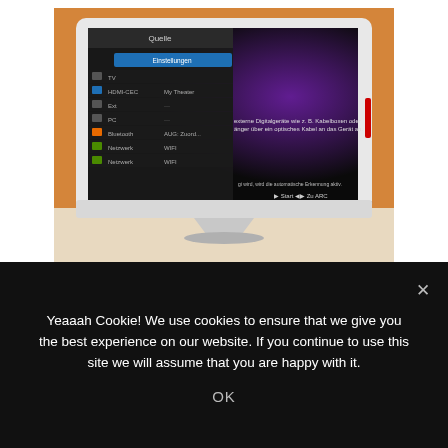[Figure (photo): Photo of a Samsung smart TV with a white bezel and silver stand displayed against an orange/yellow wall. The TV screen shows a German-language source/input menu (Quelle) with items like TV, HDMI-CEC, Ext, PC, Bluetooth, Network listed, and a settings panel visible on the right side of the screen with German text.]
At the time I'm working on a functional init-
Yeaaah Cookie! We use cookies to ensure that we give you the best experience on our website. If you continue to use this site we will assume that you are happy with it.
OK